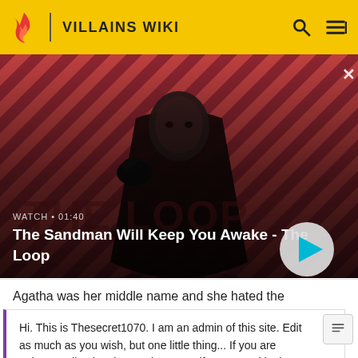VILLAINS WIKI
[Figure (screenshot): Video banner showing a dark-robed figure with a raven on his shoulder against a red diagonal striped background. Title: The Sandman Will Keep You Awake - The Loop. Duration: 01:40. Play button on right.]
Agatha was her middle name and she hated the
Hi. This is Thesecret1070. I am an admin of this site. Edit as much as you wish, but one little thing... If you are going to edit a lot, then make yourself a user and login. Other than that, enjoy Villains Wiki!!!